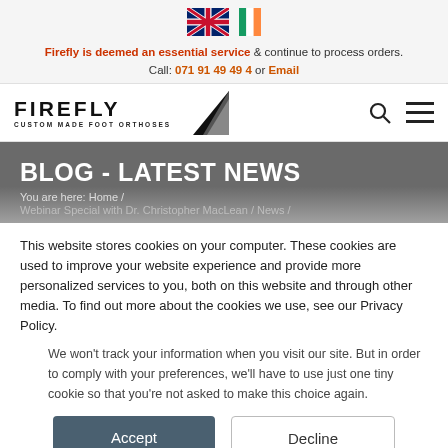[Figure (logo): UK and Ireland flag icons for language selection]
Firefly is deemed an essential service & continue to process orders. Call: 071 91 49 49 4 or Email
[Figure (logo): Firefly Custom Made Foot Orthoses logo with triangular arrow icon, search icon and hamburger menu]
BLOG - LATEST NEWS
You are here: Home /
Webinar Special with Dr. Christopher MacLean / News /
This website stores cookies on your computer. These cookies are used to improve your website experience and provide more personalized services to you, both on this website and through other media. To find out more about the cookies we use, see our Privacy Policy.
We won't track your information when you visit our site. But in order to comply with your preferences, we'll have to use just one tiny cookie so that you're not asked to make this choice again.
Accept
Decline